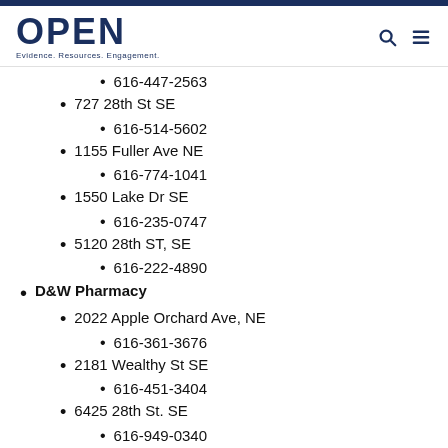OPEN — Evidence. Resources. Engagement.
616-447-2563
727 28th St SE
616-514-5602
1155 Fuller Ave NE
616-774-1041
1550 Lake Dr SE
616-235-0747
5120 28th ST, SE
616-222-4890
D&W Pharmacy
2022 Apple Orchard Ave, NE
616-361-3676
2181 Wealthy St SE
616-451-3404
6425 28th St. SE
616-949-0340